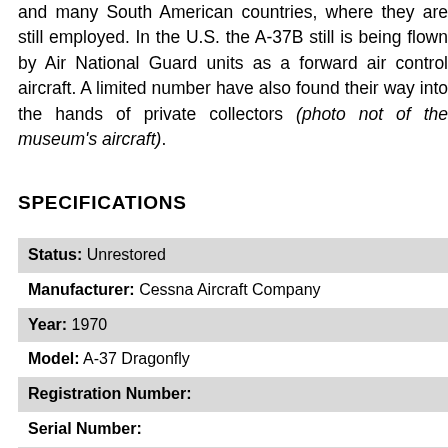and many South American countries, where they are still employed. In the U.S. the A-37B still is being flown by Air National Guard units as a forward air control aircraft. A limited number have also found their way into the hands of private collectors (photo not of the museum's aircraft).
SPECIFICATIONS
| Status: Unrestored |
| Manufacturer: Cessna Aircraft Company |
| Year: 1970 |
| Model: A-37 Dragonfly |
| Registration Number: |
| Serial Number: |
| Crew: 2 |
| Max T/O Weight: 14,000 lb |